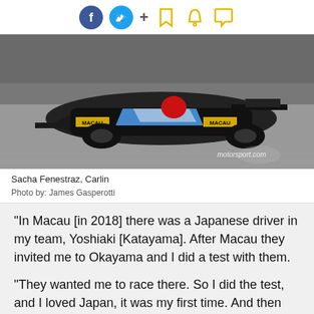Social share icons: Facebook, Twitter, +, Bookmark, Bell, Comment
[Figure (photo): Formula 3 race car (Sacha Fenestraz, Carlin) on track at Macau, with motorsport.com watermark in bottom right corner.]
Sacha Fenestraz, Carlin
Photo by: James Gasperotti
"In Macau [in 2018] there was a Japanese driver in my team, Yoshiaki [Katayama]. After Macau they invited me to Okayama and I did a test with them.
"They wanted me to race there. So I did the test, and I loved Japan, it was my first time. And then we decided to look for opportunities in Japan.